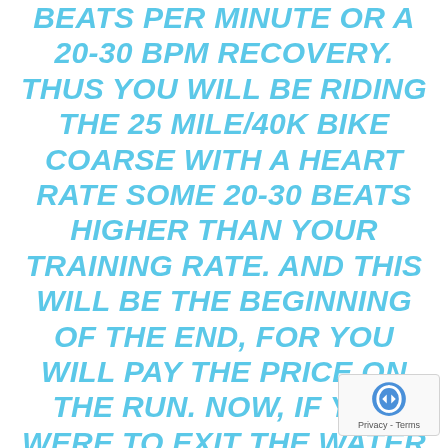BEATS PER MINUTE OR A 20-30 BPM RECOVERY. THUS YOU WILL BE RIDING THE 25 MILE/40K BIKE COARSE WITH A HEART RATE SOME 20-30 BEATS HIGHER THAN YOUR TRAINING RATE. AND THIS WILL BE THE BEGINNING OF THE END, FOR YOU WILL PAY THE PRICE ON THE RUN. NOW, IF YOU WERE TO EXIT THE WATER IN THE SAME RACE WITH YOUR HEART RATE CLOSER TO 140 OR 150 BEATS PER MINUTE, AND YOU RECOVERED THE SAME 20-30 BPM DURING THE BIKE RIDE, YOUR HEART RATE WOULD SETTLE IN SOMEWHERE BETWEEN 120 AND 130 BPM... YOUR